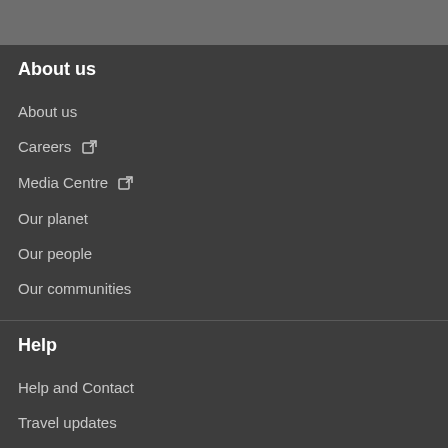About us
About us
Careers [external link]
Media Centre [external link]
Our planet
Our people
Our communities
Help
Help and Contact
Travel updates
Special assistance
Frequently asked questions